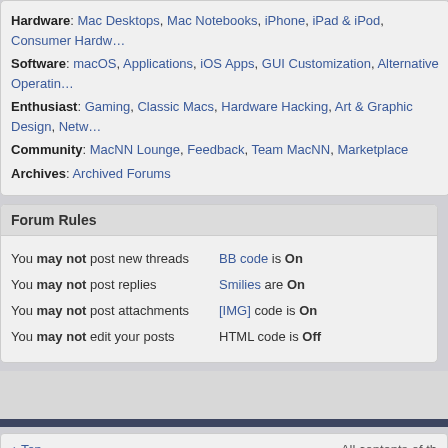Hardware: Mac Desktops, Mac Notebooks, iPhone, iPad & iPod, Consumer Hardware
Software: macOS, Applications, iOS Apps, GUI Customization, Alternative Operating
Enthusiast: Gaming, Classic Macs, Hardware Hacking, Art & Graphic Design, Netw
Community: MacNN Lounge, Feedback, Team MacNN, Marketplace
Archives: Archived Forums
Forum Rules
You may not post new threads
You may not post replies
You may not post attachments
You may not edit your posts
BB code is On
Smilies are On
[IMG] code is On
HTML code is Off
↑ Top   All contents of th
Privacy Policy
All times are GMT -4. The time now is 11:33 AM.   vB